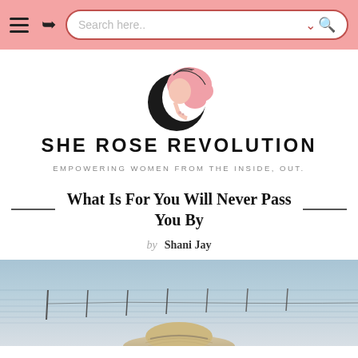Search here..
[Figure (logo): She Rose Revolution logo: illustrated woman silhouette with pink flowing hair inside a dark crescent shape]
SHE ROSE REVOLUTION
EMPOWERING WOMEN FROM THE INSIDE, OUT.
What Is For You Will Never Pass You By
by Shani Jay
[Figure (photo): Beach scene viewed from above with ocean water, horizon, and a person wearing a wide-brim straw hat visible at the bottom]